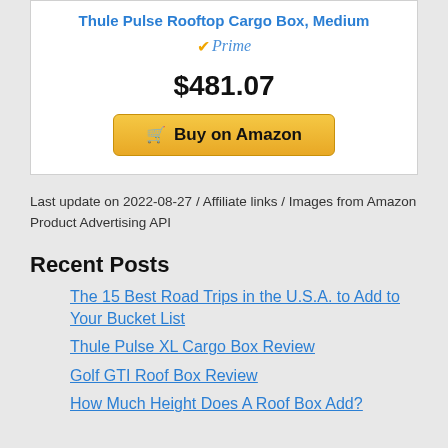Thule Pulse Rooftop Cargo Box, Medium
$481.07
Buy on Amazon
Last update on 2022-08-27 / Affiliate links / Images from Amazon Product Advertising API
Recent Posts
The 15 Best Road Trips in the U.S.A. to Add to Your Bucket List
Thule Pulse XL Cargo Box Review
Golf GTI Roof Box Review
How Much Height Does A Roof Box Add?